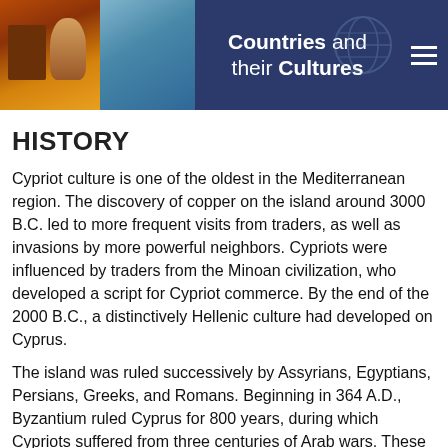Countries and their Cultures
HISTORY
Cypriot culture is one of the oldest in the Mediterranean region. The discovery of copper on the island around 3000 B.C. led to more frequent visits from traders, as well as invasions by more powerful neighbors. Cypriots were influenced by traders from the Minoan civilization, who developed a script for Cypriot commerce. By the end of the 2000 B.C., a distinctively Hellenic culture had developed on Cyprus.
The island was ruled successively by Assyrians, Egyptians, Persians, Greeks, and Romans. Beginning in 364 A.D., Byzantium ruled Cyprus for 800 years, during which Cypriots suffered from three centuries of Arab wars. These wars led to the deaths of thousands of Cypriots and the destruction of Cypriot cities, which were never rebuilt. After Richard the Lion-Hearted briefly possessed Cyprus during the Crusades, the island came under Frankish control in the late twelfth